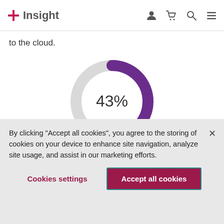Insight
to the cloud.
[Figure (donut-chart): 43%]
intend to avoid last-minute, ad-hoc IT purchases
By clicking “Accept all cookies”, you agree to the storing of cookies on your device to enhance site navigation, analyze site usage, and assist in our marketing efforts.
Cookies settings
Accept all cookies